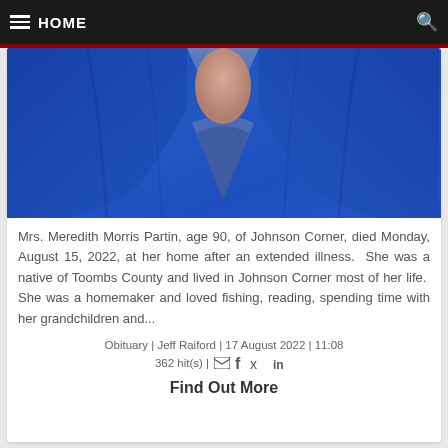HOME
[Figure (photo): Partial photo of an elderly woman wearing a blue cardigan jacket, showing her neck and upper torso area.]
Mrs. Meredith Morris Partin, age 90, of Johnson Corner, died Monday, August 15, 2022, at her home after an extended illness.  She was a native of Toombs County and lived in Johnson Corner most of her life.  She was a homemaker and loved fishing, reading, spending time with her grandchildren and...
Obituary | Jeff Raiford | 17 August 2022 | 11:08
362 hit(s) |
Find Out More